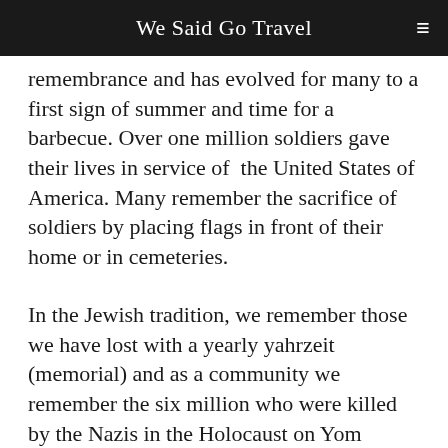We Said Go Travel
remembrance and has evolved for many to a first sign of summer and time for a barbecue. Over one million soldiers gave their lives in service of the United States of America. Many remember the sacrifice of soldiers by placing flags in front of their home or in cemeteries.
In the Jewish tradition, we remember those we have lost with a yearly yahrzeit (memorial) and as a community we remember the six million who were killed by the Nazis in the Holocaust on Yom Hashoah which was on May 4 this year.